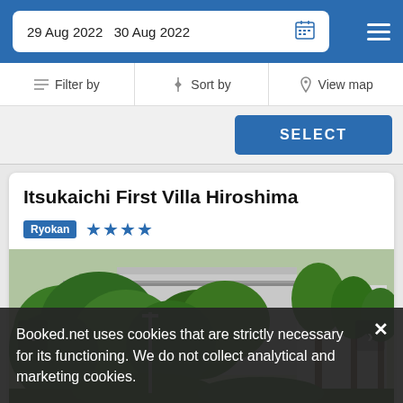29 Aug 2022   30 Aug 2022
Filter by   Sort by   View map
SELECT
Itsukaichi First Villa Hiroshima
Ryokan  ★★★★
[Figure (photo): Exterior photo of Itsukaichi First Villa Hiroshima showing lush green garden with trees and shrubs in front of a building with a covered walkway]
Booked.net uses cookies that are strictly necessary for its functioning. We do not collect analytical and marketing cookies.